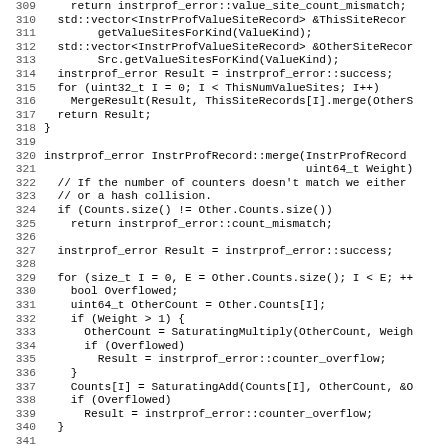[Figure (screenshot): Source code listing showing C++ function implementations for instrprof_error and InstrProfRecord::merge, lines 309-340, with line numbers on the left and code in monospace font.]